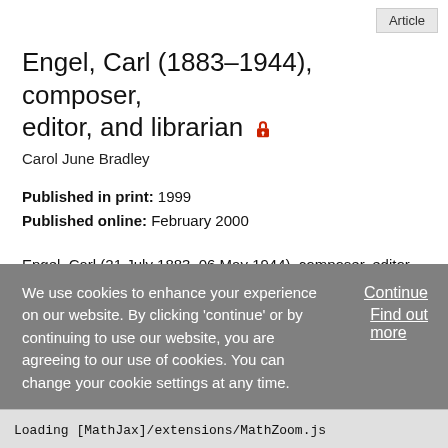Article
Engel, Carl (1883–1944), composer, editor, and librarian 🔒
Carol June Bradley
Published in print: 1999
Published online: February 2000
Engel, Carl (21 July 1883–06 May 1944), composer, editor, and librarian, was born in Paris, France, the son of German parents Joseph C. Engel and Gertrude Seeger. Engel studied music, philosophy, and psychology at the Universities of Strasbourg and Munich. His musical training included
We use cookies to enhance your experience on our website. By clicking 'continue' or by continuing to use our website, you are agreeing to our use of cookies. You can change your cookie settings at any time.
Continue
Find out more
Loading [MathJax]/extensions/MathZoom.js